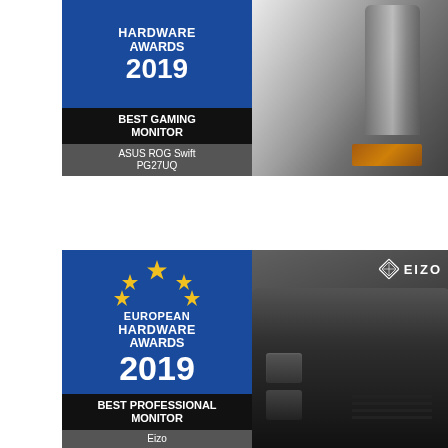[Figure (photo): European Hardware Awards 2019 Best Gaming Monitor award badge (blue background with HARDWARE AWARDS 2019 text and BEST GAMING MONITOR / ASUS ROG Swift PG27UQ label in black/grey) alongside a photo of the back of the ASUS ROG Swift PG27UQ gaming monitor with grey metallic stand and copper/bronze accent at the base.]
[Figure (photo): European Hardware Awards 2019 Best Professional Monitor award badge (blue background with EU stars, EUROPEAN HARDWARE AWARDS 2019 text and BEST PROFESSIONAL MONITOR / Eizo label in black) alongside a photo of the back of the Eizo professional monitor showing the EIZO logo, dark body with ventilation and adjustment buttons.]